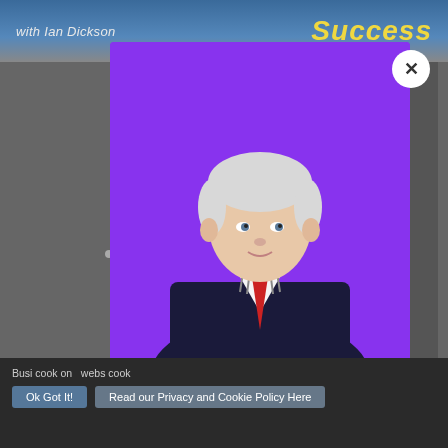with Ian Dickson
Success
[Figure (screenshot): Modal popup with purple background showing a man with white hair wearing a dark suit, striped shirt, and red tie. A white circular close button (X) is in the upper right. Text at the bottom reads: Hi, I'm Steve Hyland let's]
Busi... cook... on ... webs... cook...
Ok Got It!   Read our Privacy and Cookie Policy Here